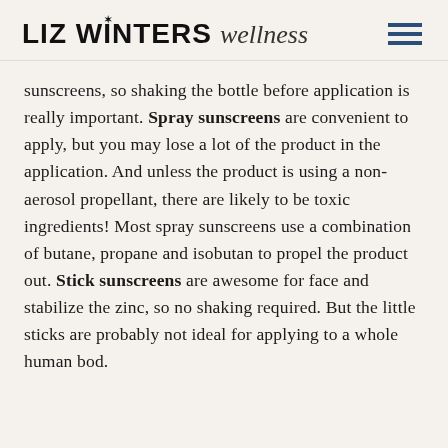LIZ WINTERS wellness
sunscreens, so shaking the bottle before application is really important. Spray sunscreens are convenient to apply, but you may lose a lot of the product in the application. And unless the product is using a non-aerosol propellant, there are likely to be toxic ingredients! Most spray sunscreens use a combination of butane, propane and isobutan to propel the product out. Stick sunscreens are awesome for face and stabilize the zinc, so no shaking required. But the little sticks are probably not ideal for applying to a whole human bod.